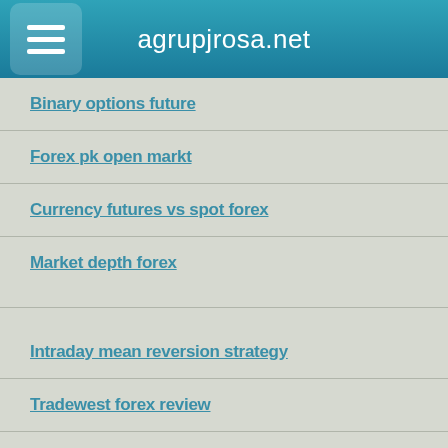agrupjrosa.net
Binary options future
Forex pk open markt
Currency futures vs spot forex
Market depth forex
Intraday mean reversion strategy
Tradewest forex review
Forex time frame strategy
Tdi forex indicator
Forex terminal 2 arlanda